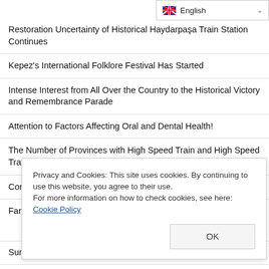English (language selector)
Restoration Uncertainty of Historical Haydarpaşa Train Station Continues
Kepez's International Folklore Festival Has Started
Intense Interest from All Over the Country to the Historical Victory and Remembrance Parade
Attention to Factors Affecting Oral and Dental Health!
The Number of Provinces with High Speed Train and High Speed Train Until 2053 will increase from 8 to 52
Contractors Undertaking Major Projects Abroad Awarded
Farewell to Adnan Oğuz Akvarlı. Person of Science and Politics
Privacy and Cookies: This site uses cookies. By continuing to use this website, you agree to their use.
For more information on how to check cookies, see here: Cookie Policy
Sun Allergy Affects Women Most